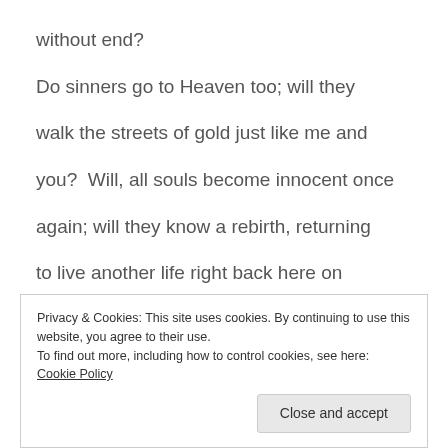without end?
Do sinners go to Heaven too; will they
walk the streets of gold just like me and
you?  Will, all souls become innocent once
again; will they know a rebirth, returning
to live another life right back here on
Privacy & Cookies: This site uses cookies. By continuing to use this website, you agree to their use.
To find out more, including how to control cookies, see here: Cookie Policy
Close and accept